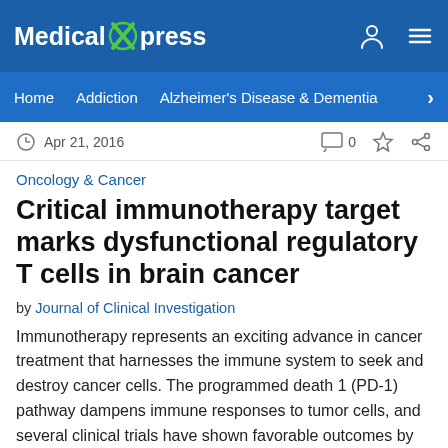Medical Xpress
Home  Addiction  Alzheimer's Disease & Dementia
Apr 21, 2016  0
Oncology & Cancer
Critical immunotherapy target marks dysfunctional regulatory T cells in brain cancer
by Journal of Clinical Investigation
Immunotherapy represents an exciting advance in cancer treatment that harnesses the immune system to seek and destroy cancer cells. The programmed death 1 (PD-1) pathway dampens immune responses to tumor cells, and several clinical trials have shown favorable outcomes by targeting PD-1 or its ligand PD-1L.